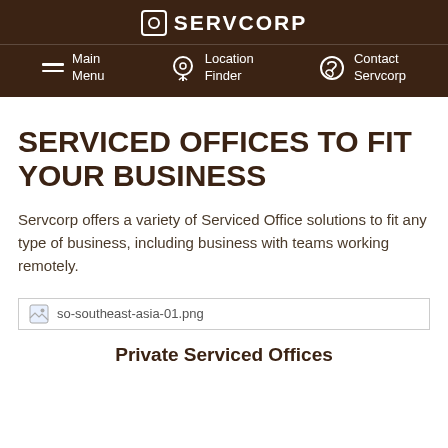SERVCORP
Main Menu | Location Finder | Contact Servcorp
SERVICED OFFICES TO FIT YOUR BUSINESS
Servcorp offers a variety of Serviced Office solutions to fit any type of business, including business with teams working remotely.
[Figure (photo): so-southeast-asia-01.png (broken image placeholder)]
Private Serviced Offices